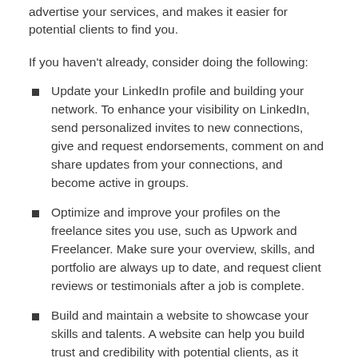advertise your services, and makes it easier for potential clients to find you.
If you haven't already, consider doing the following:
Update your LinkedIn profile and building your network. To enhance your visibility on LinkedIn, send personalized invites to new connections, give and request endorsements, comment on and share updates from your connections, and become active in groups.
Optimize and improve your profiles on the freelance sites you use, such as Upwork and Freelancer. Make sure your overview, skills, and portfolio are always up to date, and request client reviews or testimonials after a job is complete.
Build and maintain a website to showcase your skills and talents. A website can help you build trust and credibility with potential clients, as it presents you as a legitimate